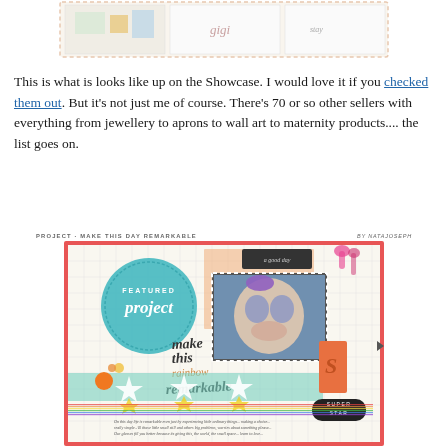[Figure (photo): Top partial image of a scrapbook showcase grid with decorative elements]
This is what is looks like up on the Showcase. I would love it if you checked them out. But it's not just me of course. There's 70 or so other sellers with everything from jewellery to aprons to wall art to maternity products.... the list goes on.
PROJECT · MAKE THIS DAY REMARKABLE   BY NATAJOSEPH
[Figure (photo): Featured scrapbook project page titled 'make this day remarkable' with a photo of a baby girl, teal featured project badge, stars, and decorative elements on a coral/red bordered layout]